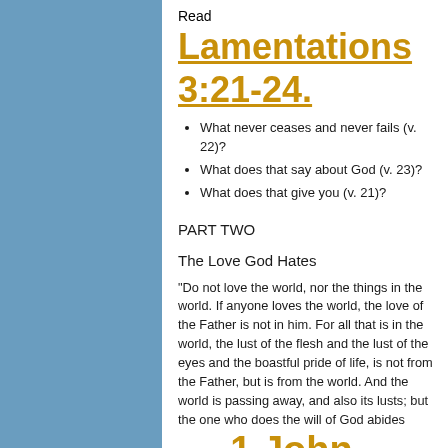Read Lamentations 3:21-24.
What never ceases and never fails (v. 22)?
What does that say about God (v. 23)?
What does that give you (v. 21)?
PART TWO
The Love God Hates
"Do not love the world, nor the things in the world. If anyone loves the world, the love of the Father is not in him. For all that is in the world, the lust of the flesh and the lust of the eyes and the boastful pride of life, is not from the Father, but is from the world. And the world is passing away, and also its lusts; but the one who does the will of God abides forever" (
1 John 2:15-